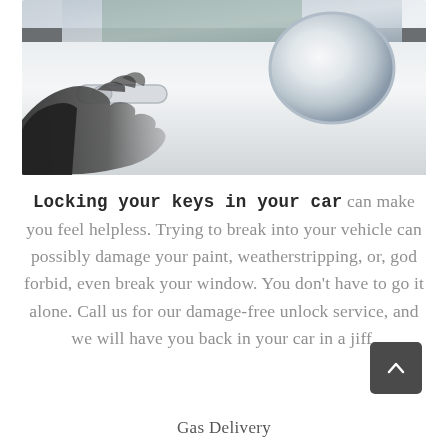[Figure (photo): A hand reaching for a white car door handle, with a side mirror visible in the background]
Locking your keys in your car can make you feel helpless. Trying to break into your vehicle can possibly damage your paint, weatherstripping, or, god forbid, even break your window. You don't have to go it alone. Call us for our damage-free unlock service, and we will have you back in your car in a jiff.
Gas Delivery